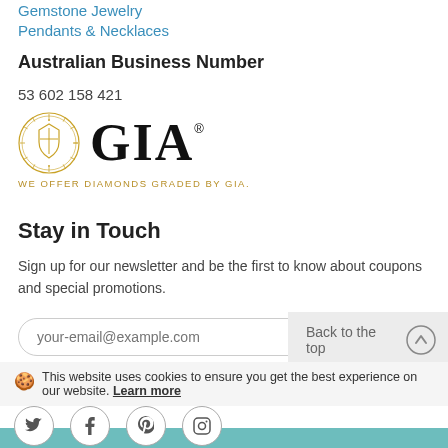Gemstone Jewelry
Pendants & Necklaces
Australian Business Number
53 602 158 421
[Figure (logo): GIA logo with circular emblem seal and text 'GIA' in serif font with registered trademark symbol, tagline: WE OFFER DIAMONDS GRADED BY GIA.]
Stay in Touch
Sign up for our newsletter and be the first to know about coupons and special promotions.
your-email@example.com
Back to the top
This website uses cookies to ensure you get the best experience on our website. Learn more